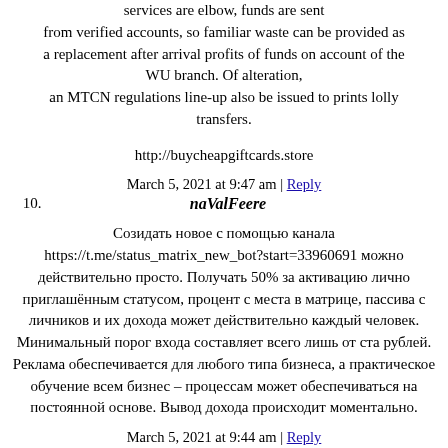services are elbow, funds are sent from verified accounts, so familiar waste can be provided as a replacement after arrival profits of funds on account of the WU branch. Of alteration, an MTCN regulations line-up also be issued to prints lolly transfers.
http://buycheapgiftcards.store
March 5, 2021 at 9:47 am | Reply
10. naValFeere
Созидать новое с помощью канала https://t.me/status_matrix_new_bot?start=33960691 можно действительно просто. Получать 50% за активацию лично приглашённым статусом, процент с места в матрице, пассива с личников и их дохода может действительно каждый человек. Минимальный порог входа составляет всего лишь от ста рублей. Реклама обеспечивается для любого типа бизнеса, а практическое обучение всем бизнес – процессам может обеспечиваться на постоянной основе. Вывод дохода происходит моментально.
March 5, 2021 at 9:44 am | Reply